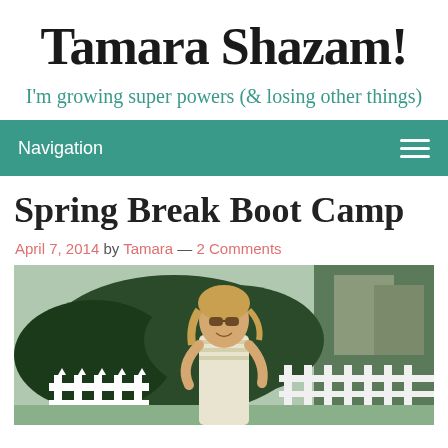Tamara Shazam!
I'm growing super powers (& losing other things)
Navigation
Spring Break Boot Camp
April 7, 2014 by Tamara — 2 Comments
[Figure (photo): Woman with sunglasses smiling outdoors near a white picket fence and green shrubs]